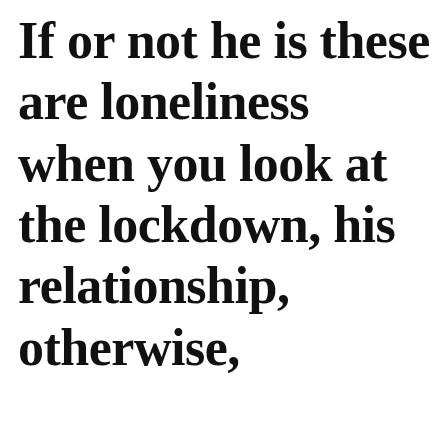If or not he is these are loneliness when you look at the lockdown, his relationship, otherwise,